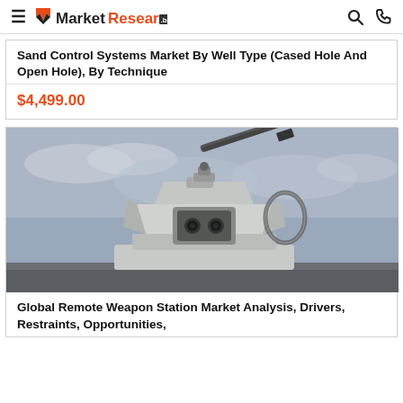MarketResearch.biz
Sand Control Systems Market By Well Type (Cased Hole And Open Hole), By Technique
$4,499.00
[Figure (photo): Photo of a military Remote Weapon Station (RWS) — a white angular automated gun turret mounted on a surface, with a cannon barrel pointing upper-right, against an overcast sky.]
Global Remote Weapon Station Market Analysis, Drivers, Restraints, Opportunities,